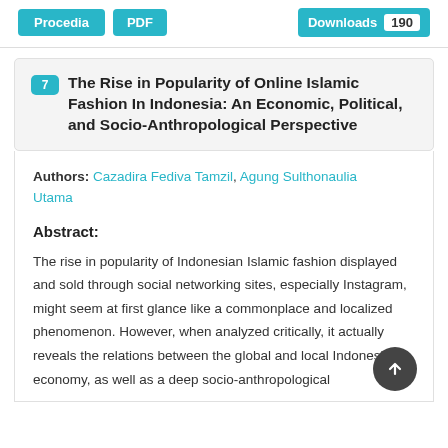[Figure (other): Top bar with Procedia and PDF buttons on left, Downloads badge with count 190 on right]
7 The Rise in Popularity of Online Islamic Fashion In Indonesia: An Economic, Political, and Socio-Anthropological Perspective
Authors: Cazadira Fediva Tamzil, Agung Sulthonaulia Utama
Abstract:
The rise in popularity of Indonesian Islamic fashion displayed and sold through social networking sites, especially Instagram, might seem at first glance like a commonplace and localized phenomenon. However, when analyzed critically, it actually reveals the relations between the global and local Indonesian economy, as well as a deep socio-anthropological